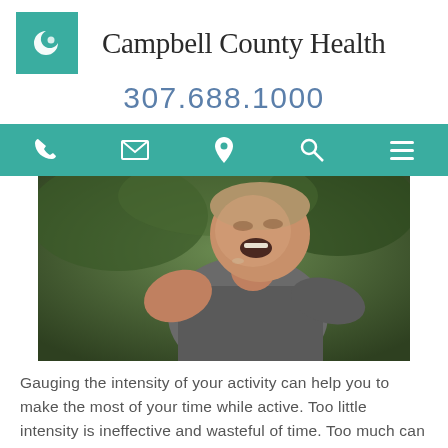[Figure (logo): Campbell County Health teal logo with crescent moon and circle symbol]
Campbell County Health
307.688.1000
[Figure (other): Teal navigation bar with phone, email, location pin, search, and menu icons]
[Figure (photo): A sweaty young man in a gray sleeveless shirt, bent forward, grimacing or yelling, with green trees in the blurred background — depicting intense physical exercise.]
Gauging the intensity of your activity can help you to make the most of your time while active. Too little intensity is ineffective and wasteful of time. Too much can be difficult to tolerate or even dangerous to your health. Try the following